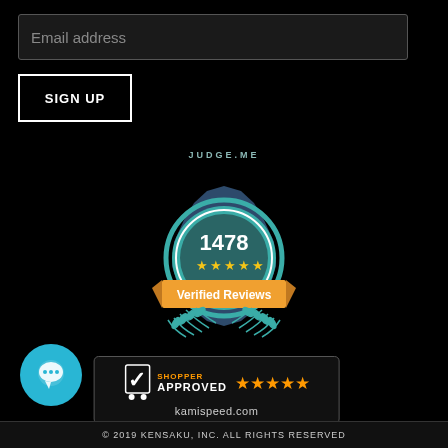Email address
SIGN UP
[Figure (logo): Judge.me badge showing 1478 verified reviews with 5 stars, teal badge with laurel wreath design]
[Figure (logo): Shopper Approved badge with 5 orange stars and kamispeed.com domain]
[Figure (other): Teal circular chat bubble button]
© 2019 KENSAKU, INC. ALL RIGHTS RESERVED